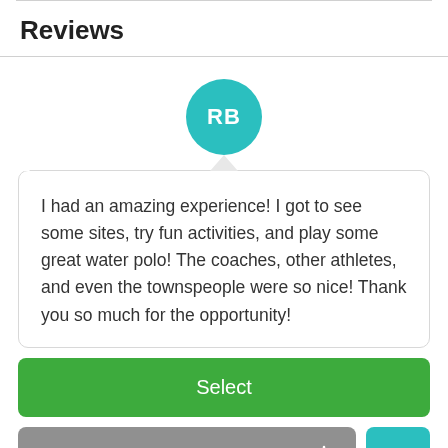Reviews
[Figure (illustration): Teal circular avatar with white initials RB, representing a reviewer named RB]
I had an amazing experience! I got to see some sites, try fun activities, and play some great water polo! The coaches, other athletes, and even the townspeople were so nice! Thank you so much for the opportunity!
Select
Download Brochure